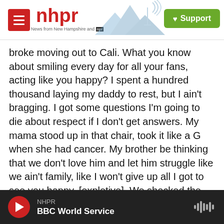nhpr — News from New Hampshire and NPR | Support
broke moving out to Cali. What you know about smiling every day for all your fans, acting like you happy? I spent a hundred thousand laying my daddy to rest, but I ain't bragging. I got some questions I'm going to die about respect if I don't get answers. My mama stood up in that chair, took it like a G when she had cancer. My brother be thinking that we don't love him and let him struggle like we ain't family, like I won't give up all I got to see you happy, [expletive]. We shocked the world...
TUCKER: In the often hypermasculine context of hip-hop, showing a sense of humor can be
NHPR | BBC World Service